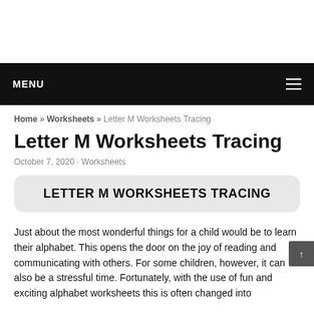MENU
Home » Worksheets » Letter M Worksheets Tracing
Letter M Worksheets Tracing
October 7, 2020 · Worksheets
LETTER M WORKSHEETS TRACING
Just about the most wonderful things for a child would be to learn their alphabet. This opens the door on the joy of reading and communicating with others. For some children, however, it can also be a stressful time. Fortunately, with the use of fun and exciting alphabet worksheets this is often changed into something that every child can love. Tracing the alphabet is